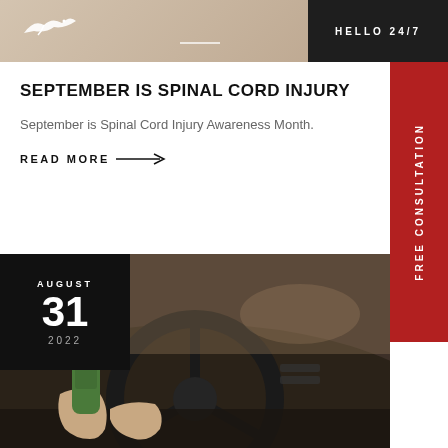[Figure (photo): Website header with bird logo and dark bar showing HELLO 24/7]
SEPTEMBER IS SPINAL CORD INJURY
September is Spinal Cord Injury Awareness Month.
READ MORE →
[Figure (photo): Date block showing AUGUST 31 2022 overlaid on photo of person holding green beer bottle while driving a car]
[Figure (other): FREE CONSULTATION red vertical sidebar tab]